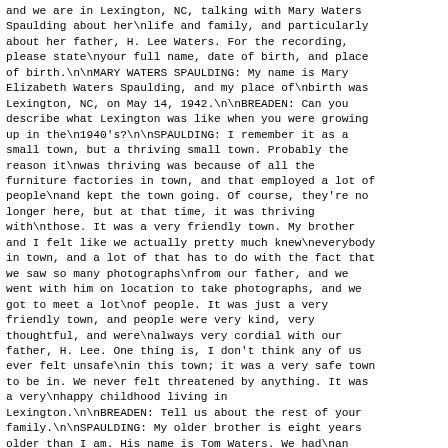and we are in Lexington, NC, talking with Mary Waters Spaulding about her\nlife and family, and particularly about her father, H. Lee Waters. For the recording, please state\nyour full name, date of birth, and place of birth.\n\nMARY WATERS SPAULDING: My name is Mary Elizabeth Waters Spaulding, and my place of\nbirth was Lexington, NC, on May 14, 1942.\n\nBREADEN: Can you describe what Lexington was like when you were growing up in the\n1940's?\n\nSPAULDING: I remember it as a small town, but a thriving small town. Probably the reason it\nwas thriving was because of all the furniture factories in town, and that employed a lot of people\nand kept the town going. Of course, they're no longer here, but at that time, it was thriving with\nthose. It was a very friendly town. My brother and I felt like we actually pretty much knew\neverybody in town, and a lot of that has to do with the fact that we saw so many photographs\nfrom our father, and we went with him on location to take photographs, and we got to meet a lot\nof people. It was just a very friendly town, and people were very kind, very thoughtful, and were\nalways very cordial with our father, H. Lee. One thing is, I don't think any of us ever felt unsafe\nin this town; it was a very safe town to be in. We never felt threatened by anything. It was a very\nhappy childhood living in Lexington.\n\nBREADEN: Tell us about the rest of your family.\n\nSPAULDING: My older brother is eight years older than I am. His name is Tom Waters. We had\nan older sister, who would have been thirteen years older than I. My brother is 8 years older\nthan I. My brother is 8 years older\nthan I. She was...